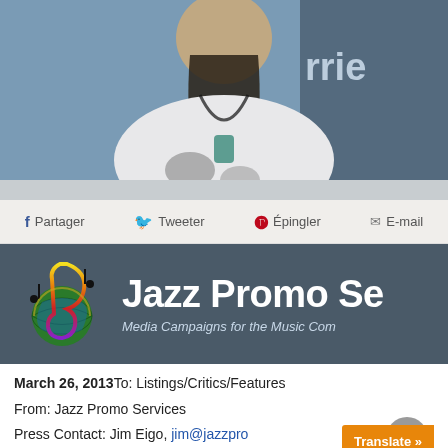[Figure (photo): Photo of an older person with long hair wearing a white t-shirt, partially visible, with a blue/dark background with partial text 'rrie']
f Partager   🐦 Tweeter   🅟 Épingler   ✉ E-mail
[Figure (logo): Jazz Promo Services logo: colorful treble clef with globe and musical notes, on dark gray banner. Text reads 'Jazz Promo Se' and 'Media Campaigns for the Music Com']
March 26, 2013 To: Listings/Critics/Features
From: Jazz Promo Services
Press Contact: Jim Eigo, jim@jazzpro